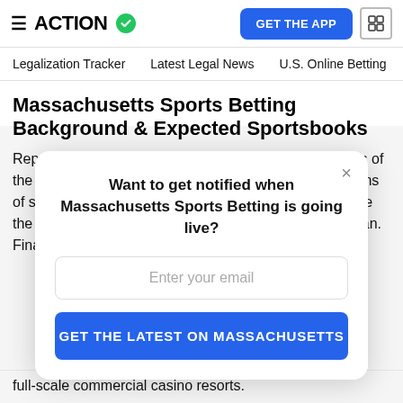ACTION
Legalization Tracker   Latest Legal News   U.S. Online Betting
Massachusetts Sports Betting Background & Expected Sportsbooks
Republican Gov. Charlie Baker and bipartisan members of the Democratic-controlled legislature have floated dozens of sports betting legalization bills in the three years since the Supreme Court struck down the federal wagering ban. Finally, after over a month of closed-door
Want to get notified when Massachusetts Sports Betting is going live?
Enter your email
GET THE LATEST ON MASSACHUSETTS
full-scale commercial casino resorts.